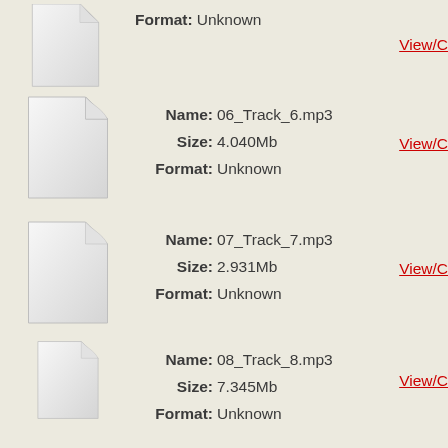Format: Unknown (top entry, partially visible)
[Figure (illustration): Generic file icon - blank white document with folded top-right corner]
Name: 06_Track_6.mp3  Size: 4.040Mb  Format: Unknown
[Figure (illustration): Generic file icon - blank white document with folded top-right corner]
Name: 07_Track_7.mp3  Size: 2.931Mb  Format: Unknown
[Figure (illustration): Generic file icon - blank white document with folded top-right corner]
Name: 08_Track_8.mp3  Size: 7.345Mb  Format: Unknown
[Figure (illustration): Generic file icon - blank white document with folded top-right corner]
Name: 09_Track_9.mp3  Size: 4.241Mb